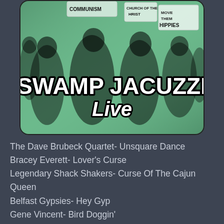[Figure (illustration): Album art for 'Swamp Jacuzzi Live' — a vintage-style black and white photo tinted green showing a crowd of people with protest signs reading 'Communism', 'Christ', 'Move Them Hippies North'. Large bold white text with black outline reads 'SWAMP JACUZZI' and below it in italic 'Live'. The image has rounded corners and a dark border.]
The Dave Brubeck Quartet- Unsquare Dance
Bracey Everett- Lover's Curse
Legendary Shack Shakers- Curse Of The Cajun Queen
Belfast Gypsies- Hey Gyp
Gene Vincent- Bird Doggin'
Dave Del Monte & The Cross County Boys- One Dark day